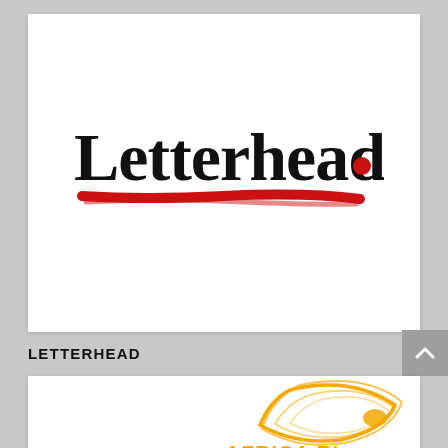[Figure (logo): Letterhead logo: bold serif text 'Letterhead.' with a red dot after the period, and a red hand-drawn underline stroke beneath the text]
LETTERHEAD
[Figure (logo): Africa Rice logo: partially visible, showing orange/yellow curved lines forming a rice grain shape and partial text 'AFRICA RI...' at the bottom]